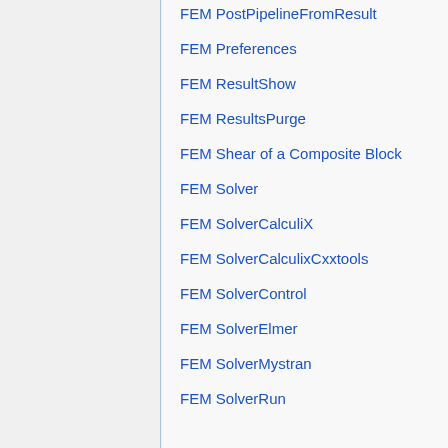FEM PostPipelineFromResult
FEM Preferences
FEM ResultShow
FEM ResultsPurge
FEM Shear of a Composite Block
FEM Solver
FEM SolverCalculiX
FEM SolverCalculixCxxtools
FEM SolverControl
FEM SolverElmer
FEM SolverMystran
FEM SolverRun